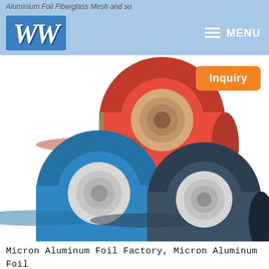Aluminium Foil Fiberglass Mesh and so
[Figure (logo): WW logo in white letters on blue background, navigation bar with MENU button]
[Figure (photo): Three rolls of colored coated aluminum foil coils stacked together: red on top, blue on bottom-left, dark gray on bottom-right. Orange 'Inquiry' button overlaid at top right.]
Micron Aluminum Foil Factory, Micron Aluminum Foil